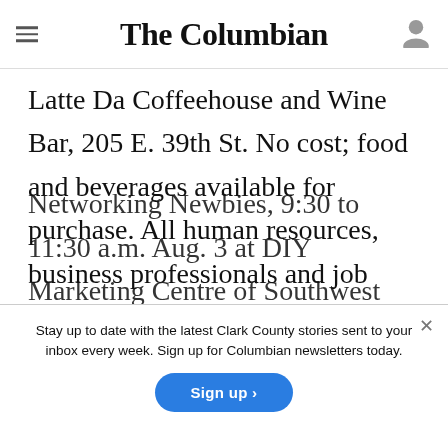The Columbian
Latte Da Coffeehouse and Wine Bar, 205 E. 39th St. No cost; food and beverages available for purchase. All human resources, business professionals and job seekers are encouraged to attend. * Reserve by noon Aug. 8 to tracy@tjandassociates.com.
Stay up to date with the latest Clark County stories sent to your inbox every week. Sign up for Columbian newsletters today.
Sign up >
Networking Newbies, 9:30 to 11:30 a.m. Aug. 3 at DIY Marketing Centre of Southwest Vancouver